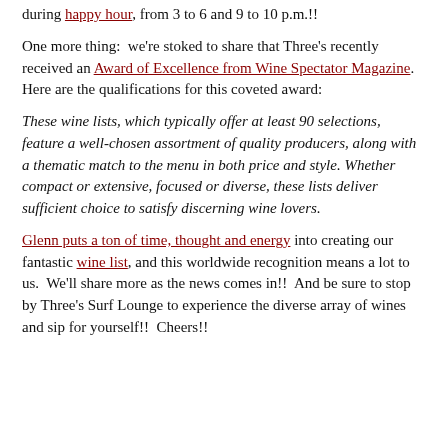during happy hour, from 3 to 6 and 9 to 10 p.m.!!
One more thing:  we're stoked to share that Three's recently received an Award of Excellence from Wine Spectator Magazine.  Here are the qualifications for this coveted award:
These wine lists, which typically offer at least 90 selections, feature a well-chosen assortment of quality producers, along with a thematic match to the menu in both price and style. Whether compact or extensive, focused or diverse, these lists deliver sufficient choice to satisfy discerning wine lovers.
Glenn puts a ton of time, thought and energy into creating our fantastic wine list, and this worldwide recognition means a lot to us.  We'll share more as the news comes in!!  And be sure to stop by Three's Surf Lounge to experience the diverse array of wines and sip for yourself!!  Cheers!!